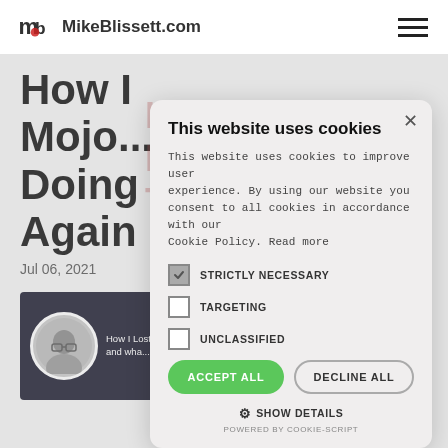MikeBlissett.com
How I Lost My Mojo... And What I Did To Get It Back Again
Jul 06, 2021
[Figure (screenshot): Thumbnail image of video with presenter avatar and text 'How I Lost My Mojo... and wha...']
This website uses cookies
This website uses cookies to improve user experience. By using our website you consent to all cookies in accordance with our Cookie Policy. Read more
STRICTLY NECESSARY
TARGETING
UNCLASSIFIED
ACCEPT ALL  DECLINE ALL
SHOW DETAILS
POWERED BY COOKIE-SCRIPT